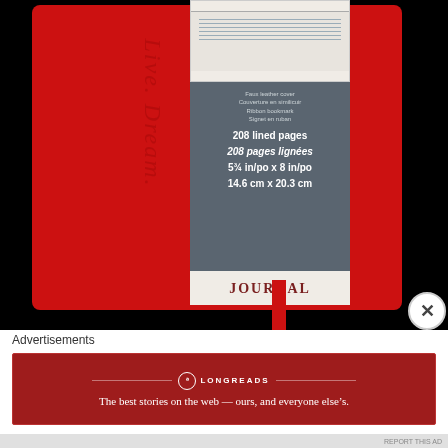[Figure (photo): Photo of a red journal/notebook with a gray label band showing product details: Faux leather cover, Couverture en similicuir, Ribbon bookmark, Signet en ruban, 208 lined pages, 208 pages lignées, 5¾ in/po x 8 in/po, 14.6 cm x 20.3 cm. The label bottom reads JOURNAL. The cover has embossed text 'Live. Dream.' visible on the red cover. A red ribbon bookmark hangs from the bottom.]
Advertisements
[Figure (screenshot): Longreads advertisement banner with dark red background. Shows Longreads logo (circle with L) and text 'LONGREADS' at top, with tagline 'The best stories on the web — ours, and everyone else's.' in white text on red background.]